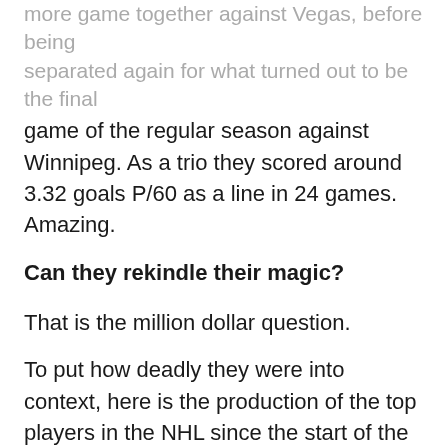more game together against Vegas, before being separated again for what turned out to be the final game of the regular season against Winnipeg. As a trio they scored around 3.32 goals P/60 as a line in 24 games. Amazing.
Can they rekindle their magic?
That is the million dollar question.
To put how deadly they were into context, here is the production of the top players in the NHL since the start of the 2018/2019 at 5×5.
Nikita Kucherov was at 3.21 P/60.
Artemi Panarin at 2.94.
Brad Marchand 2.84